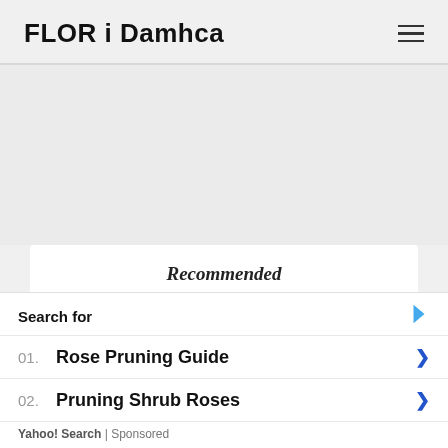FLOR i Damhca
Recommended
Clusia Rosea
Search for
01. Rose Pruning Guide
02. Pruning Shrub Roses
Yahoo! Search | Sponsored